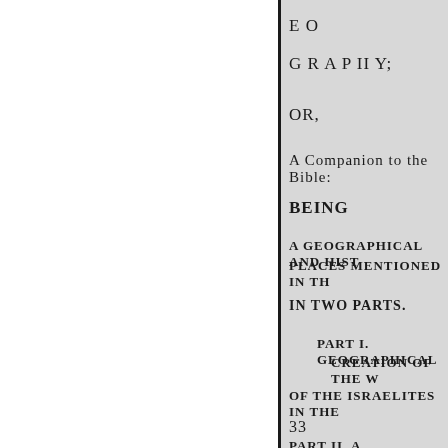E O
G R A P II Y;
OR,
A Companion to the Bible:
BEING
A GEOGRAPHICAL AND HIST
PLACES MENTIONED IN TH
IN TWO PARTS.
PART I. GEOGRAPHICAL
CREATION OF THE W
OF THE ISRAELITES IN THE
33
PART II. A GEOGRAPHICAL D